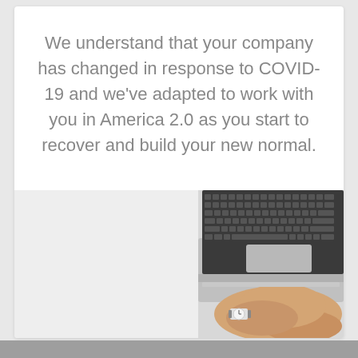We understand that your company has changed in response to COVID-19 and we've adapted to work with you in America 2.0 as you start to recover and build your new normal.
[Figure (photo): Top-down view of a laptop keyboard in the upper right and a person's clasped hands resting on a white desk surface, wearing a watch, lower right. White desk occupies the left portion of the image.]